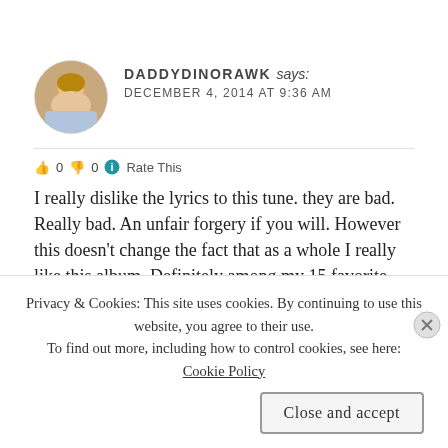DADDYDINORAWK says: DECEMBER 4, 2014 AT 9:36 AM
👍 0 👎 0 ℹ Rate This
I really dislike the lyrics to this tune. they are bad. Really bad. An unfair forgery if you will. However this doesn't change the fact that as a whole I really like this album. Definitely among my 15 favorite Pink Floyd
Privacy & Cookies: This site uses cookies. By continuing to use this website, you agree to their use.
To find out more, including how to control cookies, see here: Cookie Policy
Close and accept